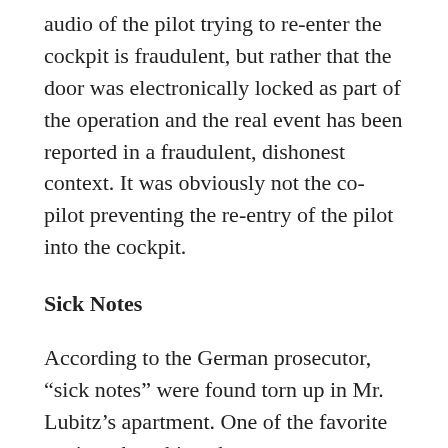audio of the pilot trying to re-enter the cockpit is fraudulent, but rather that the door was electronically locked as part of the operation and the real event has been reported in a fraudulent, dishonest context. It was obviously not the co-pilot preventing the re-entry of the pilot into the cockpit.
Sick Notes
According to the German prosecutor, “sick notes” were found torn up in Mr. Lubitz’s apartment. One of the favorite tactics when things have gone wrong and the story is on the rocks, is to create a completely false debate on a non-issue so that every simple minded fool in the world will want to “have their say” on the